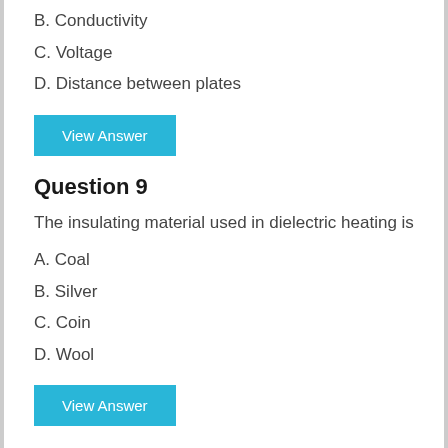B. Conductivity
C. Voltage
D. Distance between plates
View Answer
Question 9
The insulating material used in dielectric heating is
A. Coal
B. Silver
C. Coin
D. Wool
View Answer